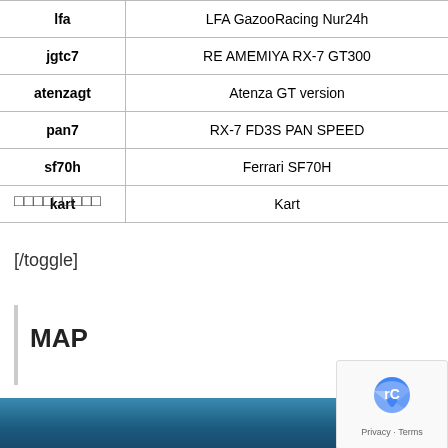| Key | Value |
| --- | --- |
| lfa | LFA GazooRacing Nur24h |
| jgtc7 | RE AMEMIYA RX-7 GT300 |
| atenzagt | Atenza GT version |
| pan7 | RX-7 FD3S PAN SPEED |
| sf70h | Ferrari SF70H |
| kart | Kart |
□□□□□□□□□
[/toggle]
MAP
[Figure (photo): Aerial or ground-level photo of a racing circuit facility building with dark roof structure against a blue sky, with a map sidebar showing location links.]